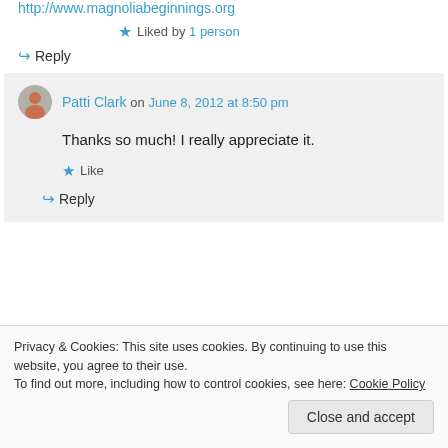http://www.magnoliabeginnings.org
Liked by 1 person
↪ Reply
Patti Clark on June 8, 2012 at 8:50 pm
Thanks so much! I really appreciate it.
★ Like
↪ Reply
Privacy & Cookies: This site uses cookies. By continuing to use this website, you agree to their use. To find out more, including how to control cookies, see here: Cookie Policy
Close and accept